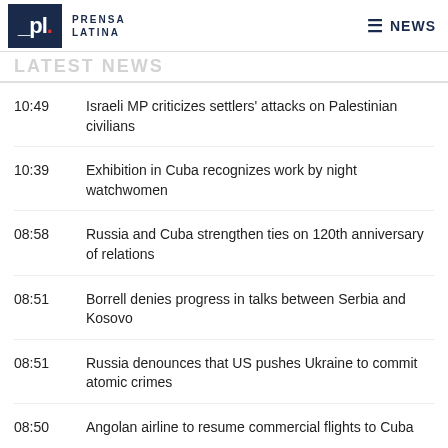Prensa Latina NEWS
LATEST NEWS
10:49 Israeli MP criticizes settlers' attacks on Palestinian civilians
10:39 Exhibition in Cuba recognizes work by night watchwomen
08:58 Russia and Cuba strengthen ties on 120th anniversary of relations
08:51 Borrell denies progress in talks between Serbia and Kosovo
08:51 Russia denounces that US pushes Ukraine to commit atomic crimes
08:50 Angolan airline to resume commercial flights to Cuba